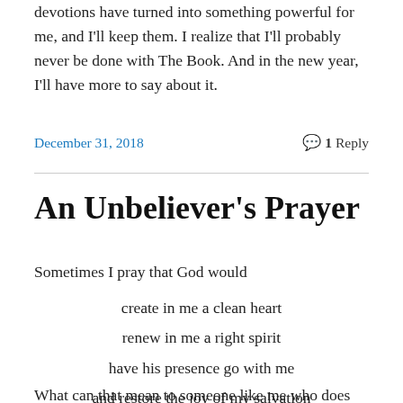devotions have turned into something powerful for me, and I'll keep them. I realize that I'll probably never be done with The Book. And in the new year, I'll have more to say about it.
December 31, 2018   💬 1 Reply
An Unbeliever's Prayer
Sometimes I pray that God would
create in me a clean heart
renew in me a right spirit
have his presence go with me
and restore the joy of my salvation
What can that mean to someone like me who does not